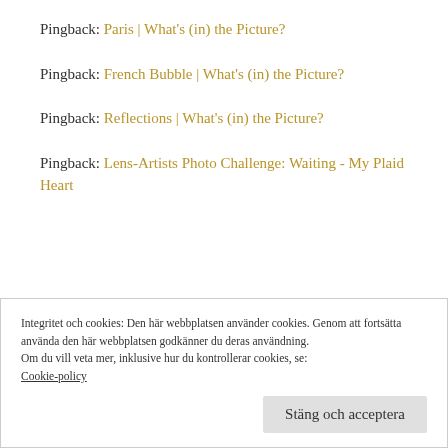Pingback: Paris | What's (in) the Picture?
Pingback: French Bubble | What's (in) the Picture?
Pingback: Reflections | What's (in) the Picture?
Pingback: Lens-Artists Photo Challenge: Waiting - My Plaid Heart
Integritet och cookies: Den här webbplatsen använder cookies. Genom att fortsätta använda den här webbplatsen godkänner du deras användning.
Om du vill veta mer, inklusive hur du kontrollerar cookies, se:
Cookie-policy
Stäng och acceptera